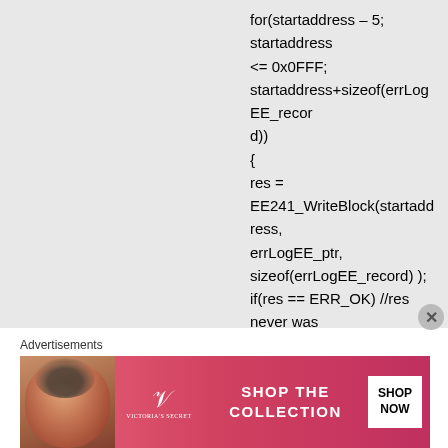for(startaddress – 5; startaddress <= 0x0FFF; startaddress+sizeof(errLogEE_record))
{
res =
EE241_WriteBlock(startaddress, errLogEE_ptr,
sizeof(errLogEE_record) );
if(res == ERR_OK) //res never was ERR_OK
errLogEE_ptr+=sizeof(errLogEE_record);
}
Advertisements
[Figure (photo): Victoria's Secret advertisement banner with a model, VS logo, 'SHOP THE COLLECTION' text, and 'SHOP NOW' button]